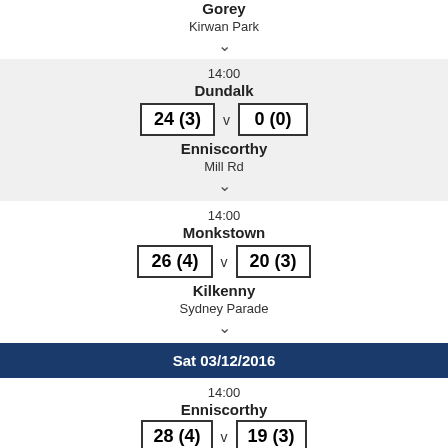Gorey
Kirwan Park
v (chevron)
14:00
Dundalk
24 (3) v 0 (0)
Enniscorthy
Mill Rd
v (chevron)
14:00
Monkstown
26 (4) v 20 (3)
Kilkenny
Sydney Parade
v (chevron)
Sat 03/12/2016
14:00
Enniscorthy
28 (4) v 19 (3)